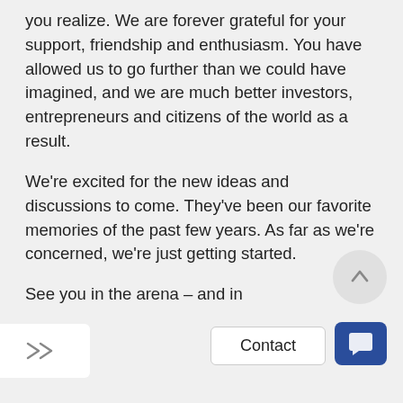you realize. We are forever grateful for your support, friendship and enthusiasm. You have allowed us to go further than we could have imagined, and we are much better investors, entrepreneurs and citizens of the world as a result.
We're excited for the new ideas and discussions to come. They've been our favorite memories of the past few years. As far as we're concerned, we're just getting started.
See you in the arena – and in